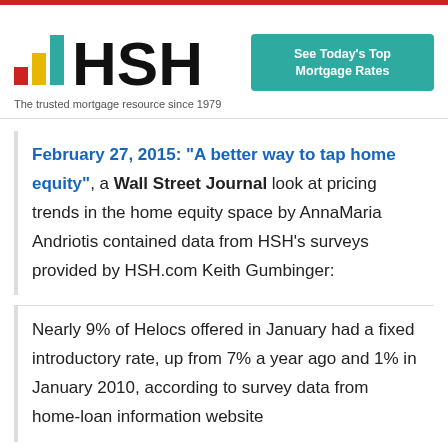[Figure (logo): HSH logo with colored bar chart icon and text 'HSH']
The trusted mortgage resource since 1979
See Today's Top Mortgage Rates
February 27, 2015: “A better way to tap home equity”, a Wall Street Journal look at pricing trends in the home equity space by AnnaMaria Andriotis contained data from HSH's surveys provided by HSH.com Keith Gumbinger:
Nearly 9% of Helocs offered in January had a fixed introductory rate, up from 7% a year ago and 1% in January 2010, according to survey data from home-loan information website